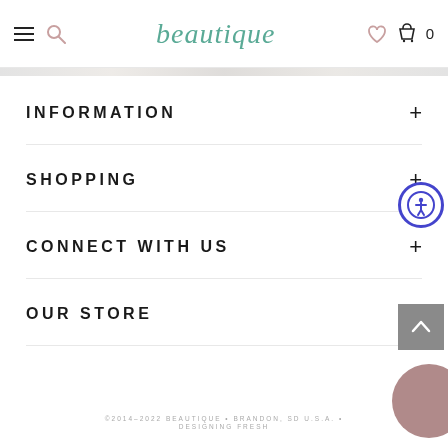beautique — navigation header with hamburger menu, search, wishlist, cart (0)
INFORMATION
SHOPPING
CONNECT WITH US
OUR STORE
©2014–2022 BEAUTIQUE • BRANDON, SD U.S.A. • DESIGNING FRESH